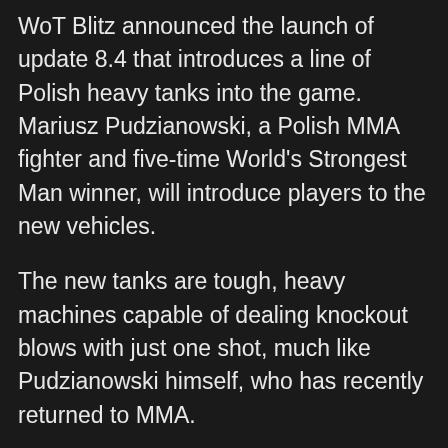WoT Blitz announced the launch of update 8.4 that introduces a line of Polish heavy tanks into the game.  Mariusz Pudzianowski, a Polish MMA fighter and five-time World's Strongest Man winner, will introduce players to the new vehicles.
The new tanks are tough, heavy machines capable of dealing knockout blows with just one shot, much like Pudzianowski himself, who has recently returned to MMA.
Pudzianowski stars in the promotional video for the new line, doing yoga, lifting weights, riding exercise bikes and engaging in other sport activities while playing the game simultaneously, showing just